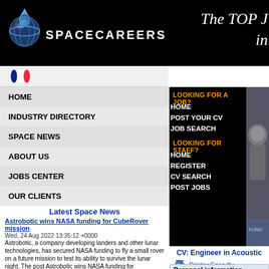[Figure (screenshot): SpaceCareers website screenshot showing logo with globe icon, tagline 'The TOP J in', navigation menu on left, job seeker/employer links on right, and news section at bottom]
SPACECAREERS — The TOP J in
HOME
INDUSTRY DIRECTORY
SPACE NEWS
ABOUT US
JOBS CENTER
OUR CLIENTS
LOOKING FOR A JOB?
HOME
POST YOUR CV
JOB SEARCH
LOOKING FOR STAFF?
HOME
REGISTER
CV SEARCH
POST JOBS
Latest Space News
Astrobotic wins NASA funding for CubeRover mission
Wed, 24 Aug 2022 13:35:12 +0000
Astrobotic, a company developing landers and other lunar technologies, has secured NASA funding to fly a small rover on a future mission to test its ability to survive the lunar night. The post Astrobotic wins NASA funding for CubeRover mission appeared first on SpaceNews.
Scout Space and university labs win contracts for on-orbit servicing project
Wed, 24 Aug 2022 13:00:24 +0000
Scout Space, a startup developing
CV: Engineer in Acoustic
Printer Friendly
Personal information
Name: <withhel